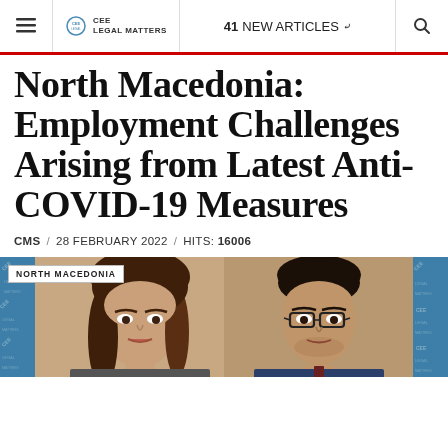CEE LEGAL MATTERS  |  41 NEW ARTICLES
North Macedonia: Employment Challenges Arising from Latest Anti-COVID-19 Measures
CMS / 28 FEBRUARY 2022 / HITS: 16006
[Figure (photo): Two professional headshot photos side by side with a 'NORTH MACEDONIA' label badge. Left: woman with medium-length brown hair. Right: man wearing glasses. Both photos have a tiled CEE Legal Matters watermark background in blue.]